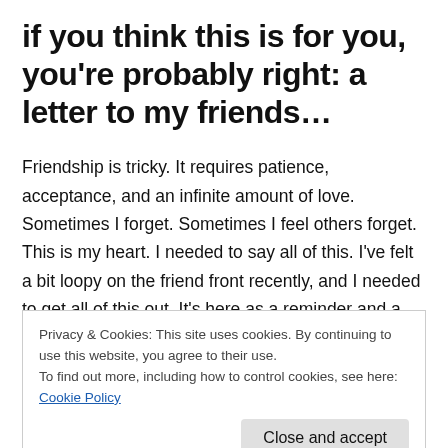if you think this is for you, you're probably right: a letter to my friends…
Friendship is tricky. It requires patience, acceptance, and an infinite amount of love. Sometimes I forget. Sometimes I feel others forget. This is my heart. I needed to say all of this. I've felt a bit loopy on the friend front recently, and I needed to get all of this out. It's here as a reminder and a
Privacy & Cookies: This site uses cookies. By continuing to use this website, you agree to their use.
To find out more, including how to control cookies, see here: Cookie Policy
I promise you that I am always here. Sometimes what we